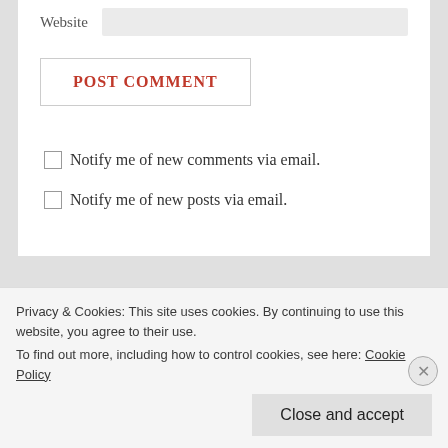Website
POST COMMENT
Notify me of new comments via email.
Notify me of new posts via email.
Blogroll
Privacy & Cookies: This site uses cookies. By continuing to use this website, you agree to their use.
To find out more, including how to control cookies, see here: Cookie Policy
Close and accept